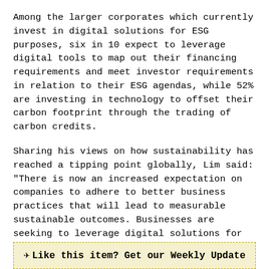Among the larger corporates which currently invest in digital solutions for ESG purposes, six in 10 expect to leverage digital tools to map out their financing requirements and meet investor requirements in relation to their ESG agendas, while 52% are investing in technology to offset their carbon footprint through the trading of carbon credits.
Sharing his views on how sustainability has reached a tipping point globally, Lim said: "There is now an increased expectation on companies to adhere to better business practices that will lead to measurable sustainable outcomes. Businesses are seeking to leverage digital solutions for their sustainability drives, including efforts to record sustainability identifiers and to prove sustainable transactions using digital forms."
Like this item? Get our Weekly Update